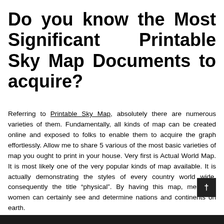Do you know the Most Significant Printable Sky Map Documents to acquire?
Referring to Printable Sky Map, absolutely there are numerous varieties of them. Fundamentally, all kinds of map can be created online and exposed to folks to enable them to acquire the graph effortlessly. Allow me to share 5 various of the most basic varieties of map you ought to print in your house. Very first is Actual World Map. It is most likely one of the very popular kinds of map available. It is actually demonstrating the styles of every country world wide, consequently the title “physical”. By having this map, men and women can certainly see and determine nations and continents on earth.